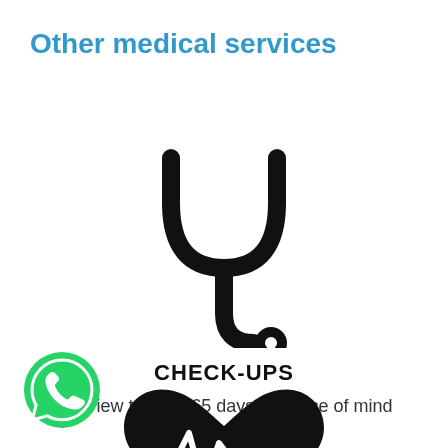Other medical services
[Figure (illustration): Stethoscope icon in black]
CHECK-UPS
A review today, 365 days of peace of mind
[Figure (illustration): Heart with pulse/ECG line icon in black (partial, cut off at bottom)]
[Figure (logo): WhatsApp logo - green circle with white phone handset icon]